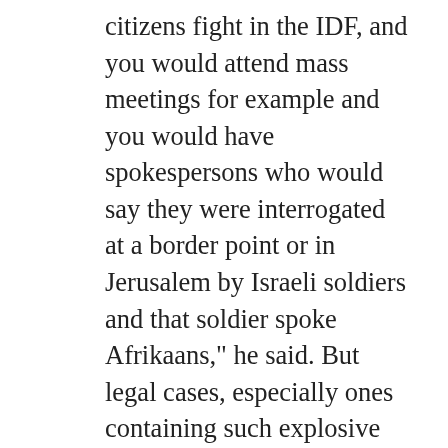citizens fight in the IDF, and you would attend mass meetings for example and you would have spokespersons who would say they were interrogated at a border point or in Jerusalem by Israeli soldiers and that soldier spoke Afrikaans," he said. But legal cases, especially ones containing such explosive allegations, need to be based on more than hearsay to succeed.The docket relies heavily on the testimony of UN workers, human rights groups, journalists, and doctors who treated the wounded. The information was gathered by the lawyers on a fact-finding mission to Egypt and Gaza earlier this year. It features hundreds of pages that detail the aftermath of the use of white phosphorus in urban areas, eyewitness accounts of civilian casualties, and evidence of UN schools hit by Israel during the war. Crucially, the lawyers say the docket also contains evidence that South Africans took part in the fighting. "We've identified about 75 South Africans who we believe